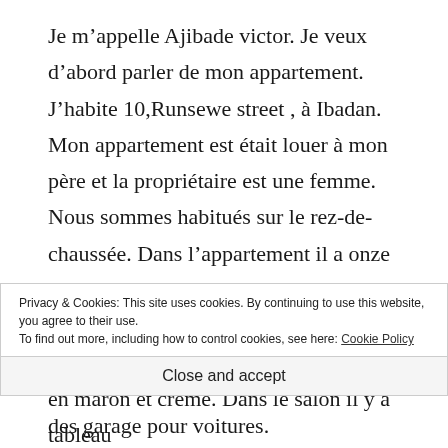Je m'appelle Ajibade victor. Je veux d'abord parler de mon appartement. J'habite 10,Runsewe street , à Ibadan. Mon appartement est était louer à mon père et la propriétaire est une femme. Nous sommes habitués sur le rez-de-chaussée. Dans l'appartement il a onze pièce. Quatre chambre, des toilettes, la salle de bain, deux cuisine et deux grande salle. Ma appartement est peinte en maron et crème. Dans le salon il y a tableau
Privacy & Cookies: This site uses cookies. By continuing to use this website, you agree to their use.
To find out more, including how to control cookies, see here: Cookie Policy
Close and accept
des garage pour voitures.